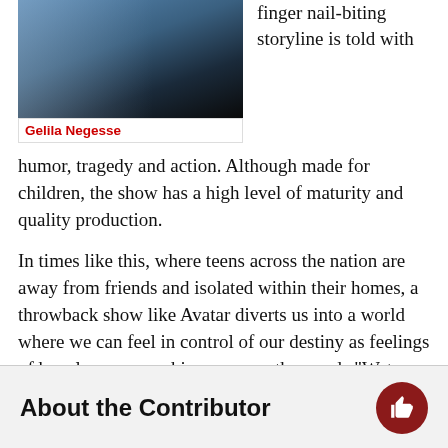[Figure (photo): Screenshot of Avatar: The Last Airbender on a laptop/tablet screen]
Gelila Negesse
finger nail-biting storyline is told with humor, tragedy and action. Although made for children, the show has a high level of maturity and quality production.
In times like this, where teens across the nation are away from friends and isolated within their homes, a throwback show like Avatar diverts us into a world where we can feel in control of our destiny as feelings of hopelessness washing away as the words “Water. Earth. Fire. Air” takes us back to much simpler and carefree times.
About the Contributor